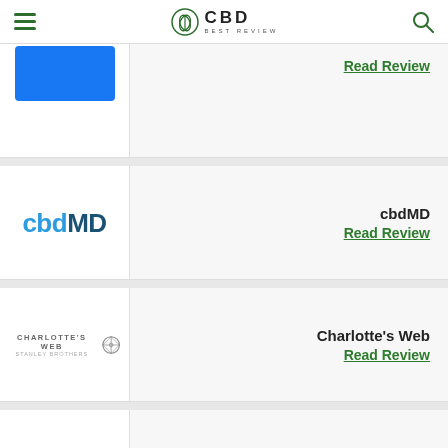CBD Best Review
[Figure (logo): Partial first review row with blue logo placeholder and Read Review link]
Read Review
[Figure (logo): cbdMD logo in blue text]
cbdMD
Read Review
[Figure (logo): Charlotte's Web logo with compass icon]
Charlotte's Web
Read Review
[Figure (logo): Elixinol logo in bold italic text with border]
Elixinol
Read Review